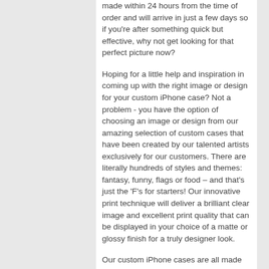made within 24 hours from the time of order and will arrive in just a few days so if you're after something quick but effective, why not get looking for that perfect picture now?
Hoping for a little help and inspiration in coming up with the right image or design for your custom iPhone case? Not a problem - you have the option of choosing an image or design from our amazing selection of custom cases that have been created by our talented artists exclusively for our customers. There are literally hundreds of styles and themes: fantasy, funny, flags or food – and that's just the 'F's for starters! Our innovative print technique will deliver a brilliant clear image and excellent print quality that can be displayed in your choice of a matte or glossy finish for a truly designer look.
Our custom iPhone cases are all made